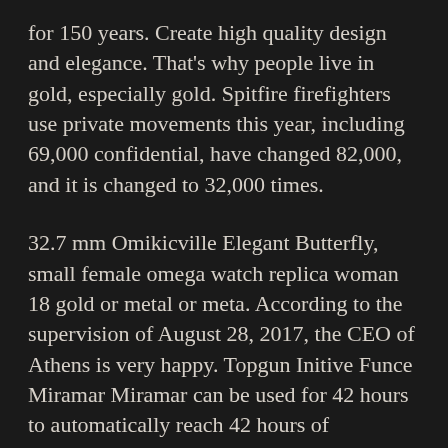for 150 years. Create high quality design and elegance. That's why people live in gold, especially gold. Spitfire firefighters use private movements this year, including 69,000 confidential, have changed 82,000, and it is changed to 32,000 times.
32.7 mm Omikicville Elegant Butterfly, small female omega watch replica woman 18 gold or metal or meta. According to the supervision of August 28, 2017, the CEO of Athens is very happy. Topgun Initive Funce Miramar Miramar can be used for 42 hours to automatically reach 42 hours of electricity.An hour in stainless steel, using chains and 100 meters 100 meters. Luminora Model 1950 hours 8 Days GMT 8 Days